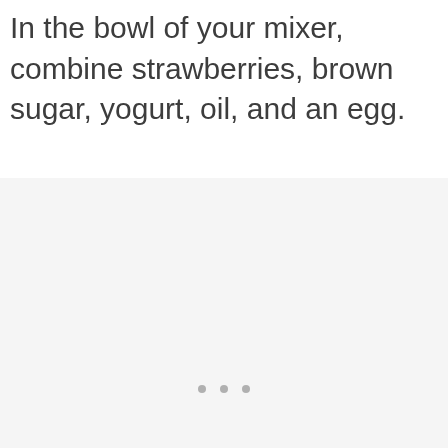In the bowl of your mixer, combine strawberries, brown sugar, yogurt, oil, and an egg.
[Figure (other): Gray background area with three small gray dots arranged horizontally, likely a loading indicator or pagination dots]